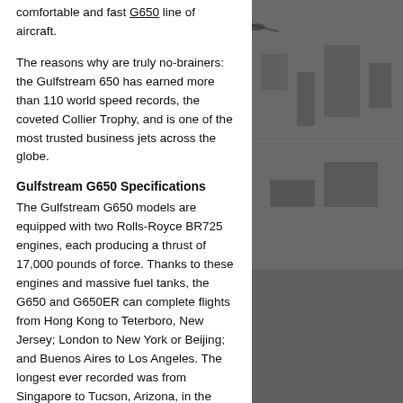comfortable and fast G650 line of aircraft.
The reasons why are truly no-brainers: the Gulfstream 650 has earned more than 110 world speed records, the coveted Collier Trophy, and is one of the most trusted business jets across the globe.
Gulfstream G650 Specifications
The Gulfstream G650 models are equipped with two Rolls-Royce BR725 engines, each producing a thrust of 17,000 pounds of force. Thanks to these engines and massive fuel tanks, the G650 and G650ER can complete flights from Hong Kong to Teterboro, New Jersey; London to New York or Beijing; and Buenos Aires to Los Angeles. The longest ever recorded was from Singapore to Tucson, Arizona, in the G650ER.
Please refer to the table below for additional
[Figure (photo): Aerial photograph of a city landscape, dark and grainy, visible on the right side of the page.]